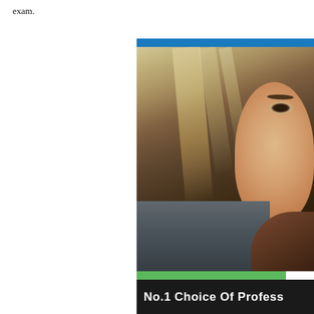exam.
[Figure (photo): Close-up photo of a woman with brown/blonde hair, one eye visible, wearing a gray top and brown collar. Blue bar at top, green bar and dark banner at bottom reading 'No.1 Choice Of Profess']